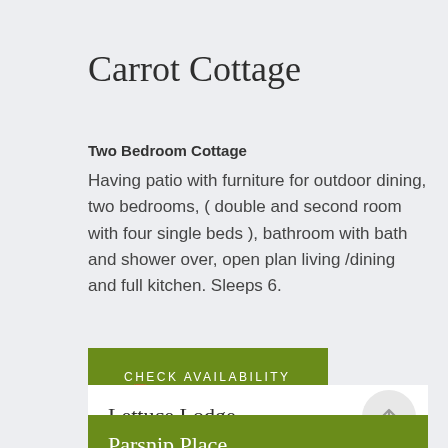Carrot Cottage
Two Bedroom Cottage
Having patio with furniture for outdoor dining, two bedrooms, ( double and second room with four single beds ), bathroom with bath and shower over, open plan living /dining and full kitchen. Sleeps 6.
CHECK AVAILABILITY
Lettuce Lodge
Parsnip Place